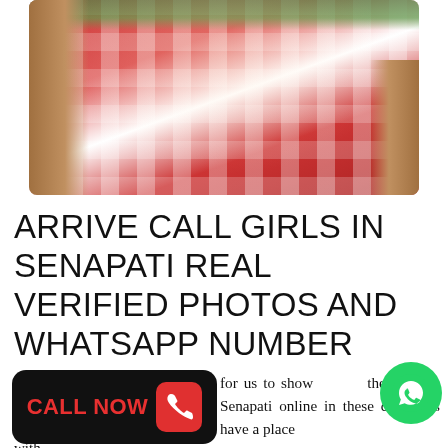[Figure (photo): Photo of a woman wearing a red plaid shirt, with long brown hair, green foliage visible in background]
ARRIVE CALL GIRLS IN SENAPATI REAL VERIFIED PHOTOS AND WHATSAPP NUMBER
for us to show the Girls in Senapati online in these call Girls have a place with…